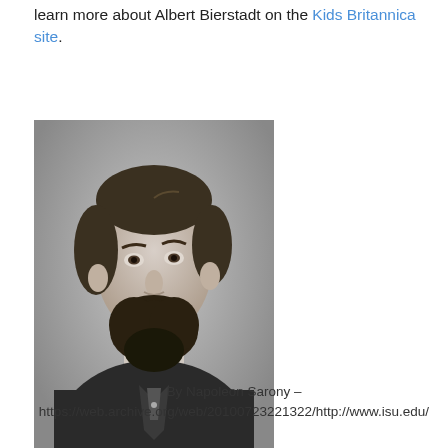learn more about Albert Bierstadt on the Kids Britannica site.
[Figure (photo): Black and white portrait photograph of Albert Bierstadt, a bearded man in 19th century attire, photographed by Napoleon Sarony.]
By Napoleon Sarony – https://web.archive.org/web/20100723221322/http://www.isu.edu/